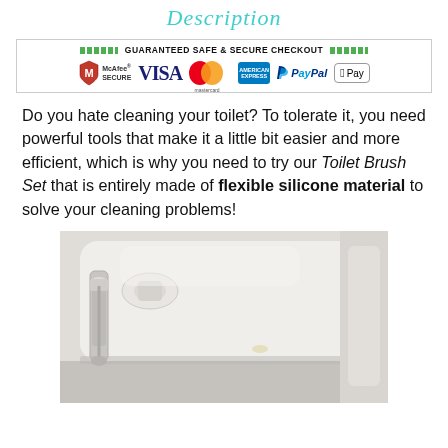Description
[Figure (infographic): Guaranteed Safe & Secure Checkout banner with payment icons: McAfee Secure, VISA, Mastercard, American Express, PayPal, Apple Pay]
Do you hate cleaning your toilet? To tolerate it, you need powerful tools that make it a little bit easier and more efficient, which is why you need to try our Toilet Brush Set that is entirely made of flexible silicone material to solve your cleaning problems!
[Figure (photo): Close-up photo of a white toilet bowl with a silicone toilet brush set positioned near the toilet seat hinge area]